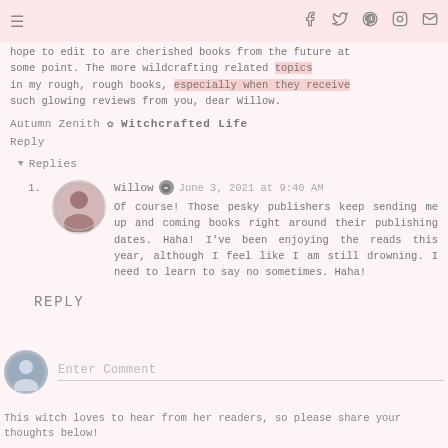Navigation bar with hamburger menu and social icons (Facebook, Twitter, Pinterest, Instagram, Email)
hope to edit to are cherished books from the future at some point. The more wildcrafting related topics in my rough, rough books, especially when they receive such glowing reviews from you, dear Willow.
Autumn Zenith ✿ Witchcrafted Life
Reply
▼ Replies
Willow ✎ June 3, 2021 at 9:40 AM
Of course! Those pesky publishers keep sending me up and coming books right around their publishing dates. Haha! I've been enjoying the reads this year, although I feel like I am still drowning. I need to learn to say no sometimes. Haha!
REPLY
Enter Comment
This witch loves to hear from her readers, so please share your thoughts below!